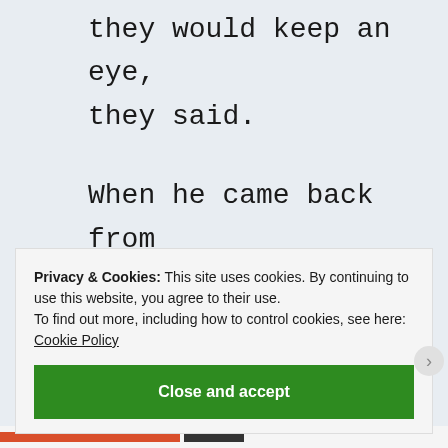they would keep an eye, they said.
When he came back from the sea, there was nothing.
He had nothing.
Good people gave him
Privacy & Cookies: This site uses cookies. By continuing to use this website, you agree to their use.
To find out more, including how to control cookies, see here: Cookie Policy
Close and accept